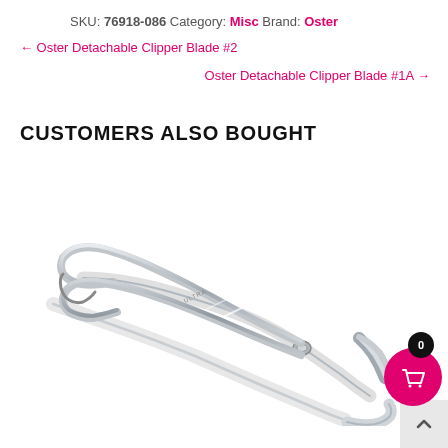SKU: 76918-086 Category: Misc Brand: Oster
← Oster Detachable Clipper Blade #2
Oster Detachable Clipper Blade #1A →
CUSTOMERS ALSO BOUGHT
[Figure (photo): Silver metal nail/cuticle nipper tool with curved handles, branded ULTRA, on white background]